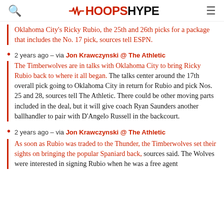HOOPSHYPE
Oklahoma City's Ricky Rubio, the 25th and 26th picks for a package that includes the No. 17 pick, sources tell ESPN.
2 years ago – via Jon Krawczynski @ The Athletic
The Timberwolves are in talks with Oklahoma City to bring Ricky Rubio back to where it all began. The talks center around the 17th overall pick going to Oklahoma City in return for Rubio and pick Nos. 25 and 28, sources tell The Athletic. There could be other moving parts included in the deal, but it will give coach Ryan Saunders another ballhandler to pair with D'Angelo Russell in the backcourt.
2 years ago – via Jon Krawczynski @ The Athletic
As soon as Rubio was traded to the Thunder, the Timberwolves set their sights on bringing the popular Spaniard back, sources said. The Wolves were interested in signing Rubio when he was a free agent